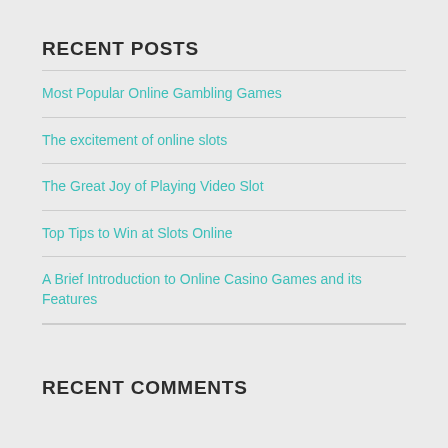RECENT POSTS
Most Popular Online Gambling Games
The excitement of online slots
The Great Joy of Playing Video Slot
Top Tips to Win at Slots Online
A Brief Introduction to Online Casino Games and its Features
RECENT COMMENTS
ARCHIVES